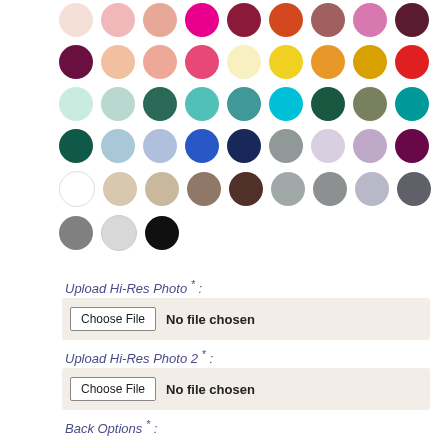[Figure (infographic): Color palette swatches arranged in 6 rows of 9-10 colored circles each, showing various pink, red, orange, teal, blue, green, purple, neutral, and gray shades, plus 3 circles in the last row.]
Upload Hi-Res Photo * :
[Figure (screenshot): File input field showing Choose File button and 'No file chosen' text on a beige background]
Upload Hi-Res Photo 2 * :
[Figure (screenshot): File input field showing Choose File button and 'No file chosen' text on a beige background]
Back Options * :
[Figure (screenshot): Dropdown select field showing '--Choose Back Options--' with arrow on beige background]
Return Addressing * (info icon)